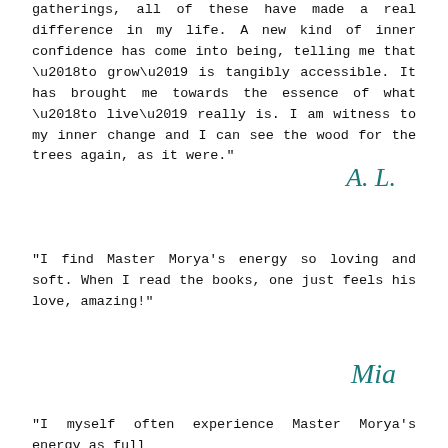gatherings, all of these have made a real difference in my life. A new kind of inner confidence has come into being, telling me that ‘to grow’ is tangibly accessible. It has brought me towards the essence of what ‘to live’ really is. I am witness to my inner change and I can see the wood for the trees again, as it were.”
A. L.
“I find Master Morya’s energy so loving and soft. When I read the books, one just feels his love, amazing!”
Mia
“I myself often experience Master Morya’s energy as full